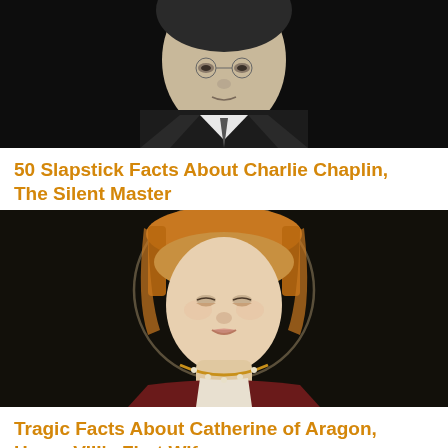[Figure (photo): Black and white portrait photograph of a young man in a suit and tie, cropped to show face and upper torso, against dark background.]
50 Slapstick Facts About Charlie Chaplin, The Silent Master
[Figure (photo): Classical painted portrait of Catherine of Aragon as a young woman wearing a Tudor gable hood, looking downward, with ornate gold jewelry, against a dark background.]
Tragic Facts About Catherine of Aragon, Henry VIII's First Wife